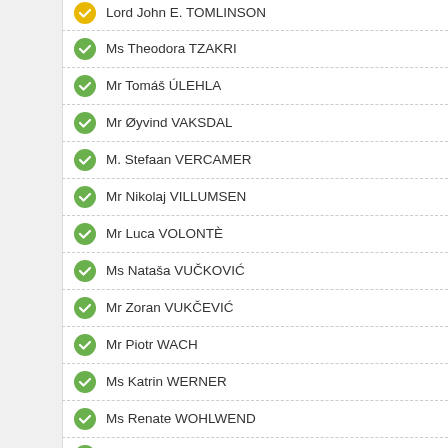Lord John E. TOMLINSON
Ms Theodora TZAKRI
Mr Tomáš ÚLEHLA
Mr Øyvind VAKSDAL
M. Stefaan VERCAMER
Mr Nikolaj VILLUMSEN
Mr Luca VOLONTÈ
Ms Nataša VUČKOVIĆ
Mr Zoran VUKČEVIĆ
Mr Piotr WACH
Ms Katrin WERNER
Ms Renate WOHLWEND
Ms Gisela WURM
Mr Łukasz ZBONIKOWSKI
Ms Svetlana ZHUROVA
Mme Marie-Jo ZIMMERMANN